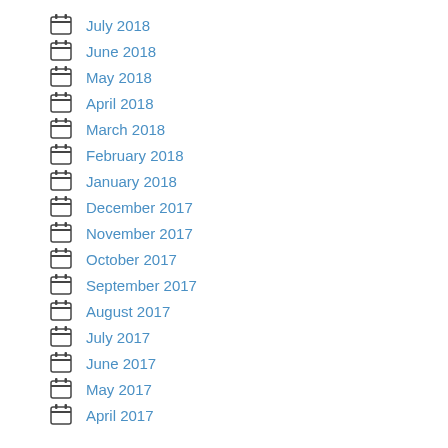July 2018
June 2018
May 2018
April 2018
March 2018
February 2018
January 2018
December 2017
November 2017
October 2017
September 2017
August 2017
July 2017
June 2017
May 2017
April 2017